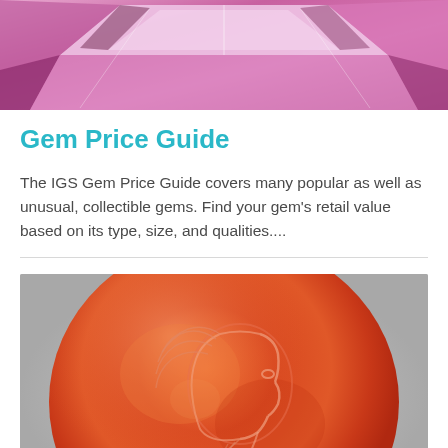[Figure (photo): Close-up photo of a pink/purple faceted gemstone (likely amethyst or tourmaline) showing facets and reflections, cropped at top]
Gem Price Guide
The IGS Gem Price Guide covers many popular as well as unusual, collectible gems. Find your gem's retail value based on its type, size, and qualities....
[Figure (photo): Photo of an orange-red carnelian intaglio/cameo gemstone showing a carved profile of a face with flowing hair and beard, set against a light gray background]